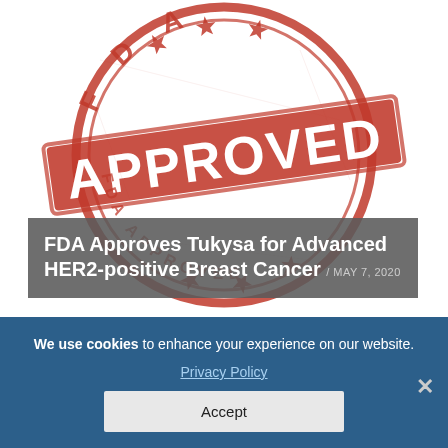[Figure (illustration): Red circular FDA APPROVED rubber stamp graphic on white background]
FDA Approves Tukysa for Advanced HER2-positive Breast Cancer / MAY 7, 2020
We use cookies to enhance your experience on our website. Privacy Policy
Accept